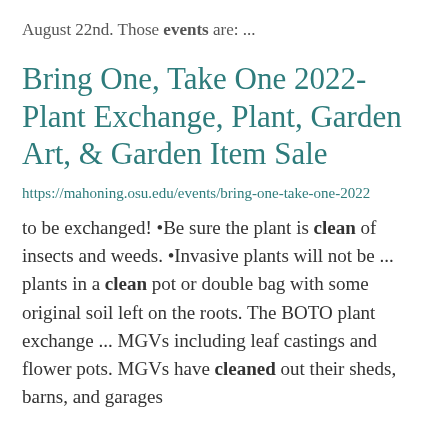August 22nd.  Those events are: ...
Bring One, Take One 2022- Plant Exchange, Plant, Garden Art, & Garden Item Sale
https://mahoning.osu.edu/events/bring-one-take-one-2022
to be exchanged! •Be sure the plant is clean of insects and weeds. •Invasive plants will not be ... plants in a clean pot or double bag with some original soil left on the roots.  The BOTO plant exchange ... MGVs including leaf castings and flower pots.  MGVs have cleaned out their sheds, barns, and garages